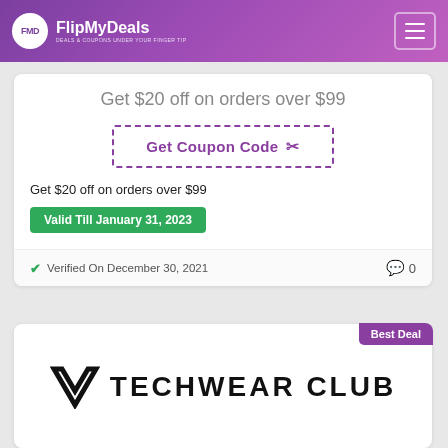FlipMyDeals — DEALS & COUPONS UNDER YOUR FINGER TIP
Get $20 off on orders over $99
[Figure (other): Get Coupon Code button with dashed purple border and scissors icon]
Get $20 off on orders over $99
Valid Till January 31, 2023
Verified On December 30, 2021   0
[Figure (logo): Techwear Club logo with angular V-shaped icon and bold uppercase text TECHWEAR CLUB]
Best Deal